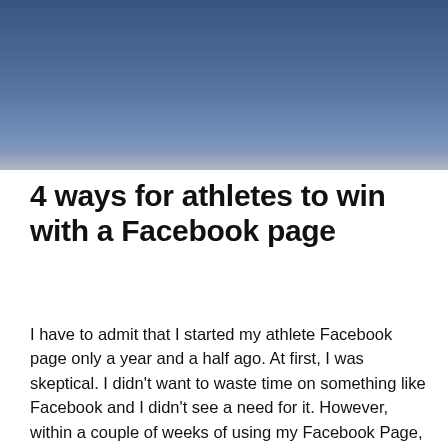[Figure (photo): Blue gradient hero image background, transitioning from dark blue at the top to a lighter blue-grey at the bottom]
4 ways for athletes to win with a Facebook page
I have to admit that I started my athlete Facebook page only a year and a half ago. At first, I was skeptical. I didn't want to waste time on something like Facebook and I didn't see a need for it. However, within a couple of weeks of using my Facebook Page, I started to enjoy sharing content about my journey and about my passion for judo. And, I got really interested in the potential of my Facebook Page when one of my posts went viral, reaching more than 100,000 people with over 500 shares. That was just the